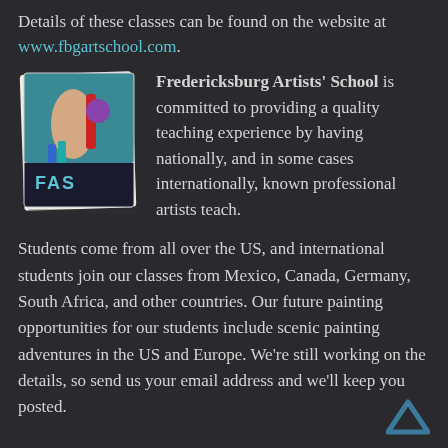Details of these classes can be found on the website at www.fbgartschool.com.
[Figure (logo): Fredericksburg Artists School logo with colorful art supplies illustration]
Fredericksburg Artists' School is committed to providing a quality teaching experience by having nationally, and in some cases internationally, known professional artists teach.
Students come from all over the US, and international students join our classes from Mexico, Canada, Germany, South Africa, and other countries. Our future painting opportunities for our students include scenic painting adventures in the US and Europe. We're still working on the details, so send us your email address and we'll keep you posted.